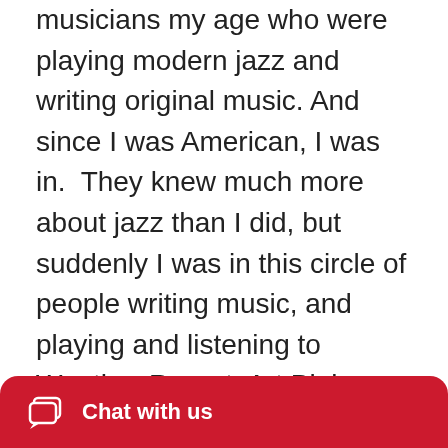musicians my age who were playing modern jazz and writing original music. And since I was American, I was in.  They knew much more about jazz than I did, but suddenly I was in this circle of people writing music, and playing and listening to Weather Report, Art Blakey and Miles Davis. I feel like that's when I became a creative artist.

At a young age I had terrible technical skills on the trumpet, but I went straight from high-school to Berklee College of Music and then
Chat with us